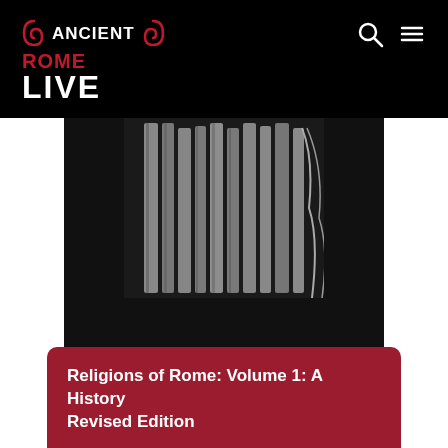Ancient Rome Live
[Figure (photo): Book cover of 'Religions of Rome: Volume 1: A History Revised Edition' by Mary Beard, John North and Simon Price. Black background with an image of ancient Roman stone columns in greyscale at the top, and the authors' names in spaced uppercase letters below.]
Religions of Rome: Volume 1: A History Revised Edition